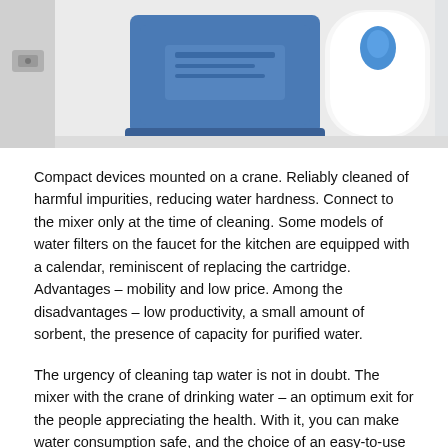[Figure (photo): Photo showing compact water filter devices mounted under a kitchen sink cabinet, featuring a blue rectangular device and a white cylindrical container with a blue label, photographed against a white cabinet interior with a hinge visible on the left.]
Compact devices mounted on a crane. Reliably cleaned of harmful impurities, reducing water hardness. Connect to the mixer only at the time of cleaning. Some models of water filters on the faucet for the kitchen are equipped with a calendar, reminiscent of replacing the cartridge. Advantages – mobility and low price. Among the disadvantages – low productivity, a small amount of sorbent, the presence of capacity for purified water.
The urgency of cleaning tap water is not in doubt. The mixer with the crane of drinking water – an optimum exit for the people appreciating the health. With it, you can make water consumption safe, and the choice of an easy-to-use faucet will allow you to effectively use the working space of the kitchen.